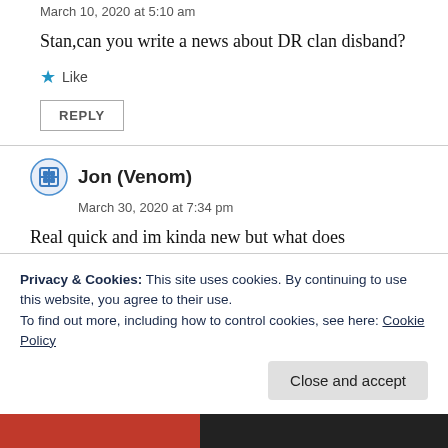March 10, 2020 at 5:10 am
Stan,can you write a news about DR clan disband?
★ Like
REPLY
Jon (Venom)
March 30, 2020 at 7:34 pm
Real quick and im kinda new but what does dredbank.com do?
Privacy & Cookies: This site uses cookies. By continuing to use this website, you agree to their use.
To find out more, including how to control cookies, see here: Cookie Policy
Close and accept